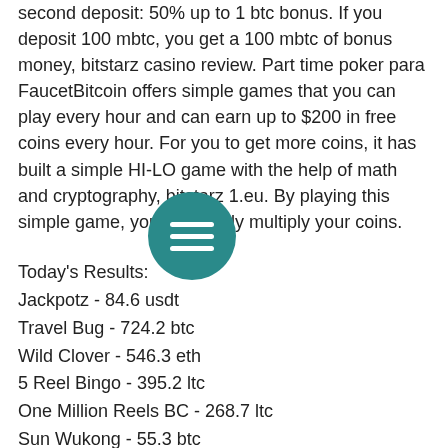second deposit: 50% up to 1 btc bonus. If you deposit 100 mbtc, you get a 100 mbtc of bonus money, bitstarz casino review. Part time poker para
FaucetBitcoin offers simple games that you can play every hour and can earn up to $200 in free coins every hour. For you to get more coins, it has built a simple HI-LO game with the help of math and cryptography, bitstarz 1.eu. By playing this simple game, you can easily multiply your coins.
Today's Results:
Jackpotz - 84.6 usdt
Travel Bug - 724.2 btc
Wild Clover - 546.3 eth
5 Reel Bingo - 395.2 ltc
One Million Reels BC - 268.7 ltc
Sun Wukong - 55.3 btc
Eagle Bucks - 361.3 dog
Beauty and the Beast - 206.3 usdt
Pharaohs Riches Golden Nights - 450.8 usdt